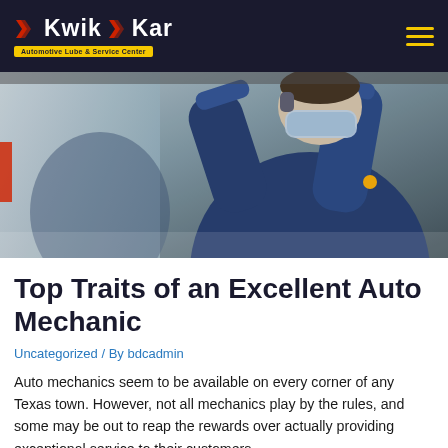Kwik Kar Automotive Lube & Service Center
[Figure (photo): A mechanic in a dark blue uniform and face mask with arms raised, working underneath a vehicle, viewed from below.]
Top Traits of an Excellent Auto Mechanic
Uncategorized / By bdcadmin
Auto mechanics seem to be available on every corner of any Texas town. However, not all mechanics play by the rules, and some may be out to reap the rewards over actually providing exceptional service to their customers.